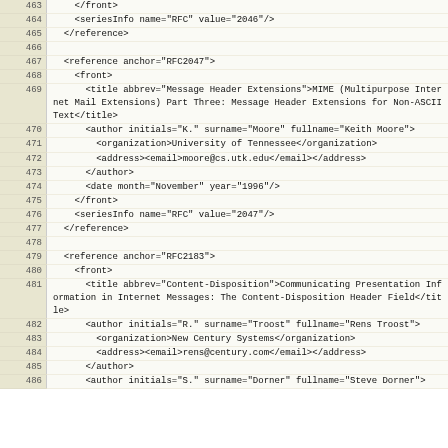| line | code |
| --- | --- |
| 463 |     </front> |
| 464 |     <seriesInfo name="RFC" value="2046"/> |
| 465 |   </reference> |
| 466 |  |
| 467 |   <reference anchor="RFC2047"> |
| 468 |     <front> |
| 469 |       <title abbrev="Message Header Extensions">MIME (Multipurpose Internet Mail Extensions) Part Three: Message Header Extensions for Non-ASCII Text</title> |
| 470 |       <author initials="K." surname="Moore" fullname="Keith Moore"> |
| 471 |         <organization>University of Tennessee</organization> |
| 472 |         <address><email>moore@cs.utk.edu</email></address> |
| 473 |       </author> |
| 474 |       <date month="November" year="1996"/> |
| 475 |     </front> |
| 476 |     <seriesInfo name="RFC" value="2047"/> |
| 477 |   </reference> |
| 478 |  |
| 479 |   <reference anchor="RFC2183"> |
| 480 |     <front> |
| 481 |       <title abbrev="Content-Disposition">Communicating Presentation Information in Internet Messages: The Content-Disposition Header Field</title> |
| 482 |       <author initials="R." surname="Troost" fullname="Rens Troost"> |
| 483 |         <organization>New Century Systems</organization> |
| 484 |         <address><email>rens@century.com</email></address> |
| 485 |       </author> |
| 486 |       <author initials="S." surname="Dorner" fullname="Steve Dorner"> |